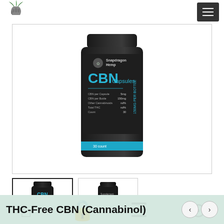[Figure (logo): Snapdragon Hemp logo — stylized plant/fist graphic]
[Figure (photo): Large product photo: black cylindrical bottle labeled Snapdragon Hemp CBN Capsules, 30 count, with teal accent band at bottom]
[Figure (photo): Thumbnail 1 (active/selected): small black bottle of Snapdragon Hemp CBN Capsules, front view]
[Figure (photo): Thumbnail 2: small black bottle of Snapdragon Hemp CBN Capsules, back/side view]
THC-Free CBN (Cannabinol)